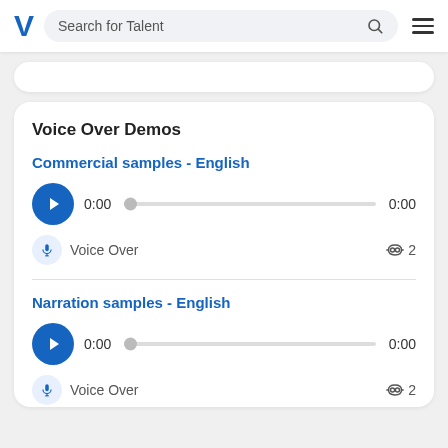Search for Talent
Voice Over Demos
Commercial samples - English
0:00   0:00
Voice Over  2
Narration samples - English
0:00   0:00
Voice Over  2